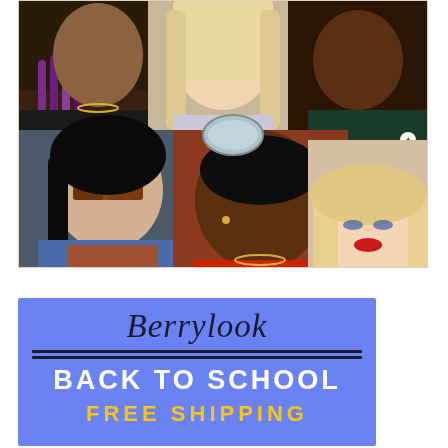[Figure (photo): Photo collage of six young people (diverse group of men and women) styled in fashionable outfits, posed together in a group shot. Includes women with colorful braids, blonde hair, sunglasses, and a man in a red shirt in the center foreground.]
[Figure (infographic): Berrylook brand advertisement banner with blue background. Shows cursive 'Berrylook' brand name, double divider lines, 'BACK TO SCHOOL' in bold white text, and 'FREE SHIPPING' in bold yellow text.]